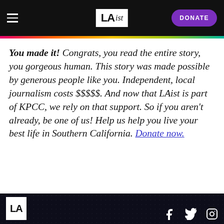LAist - DONATE
You made it! Congrats, you read the entire story, you gorgeous human. This story was made possible by generous people like you. Independent, local journalism costs $$$$$. And now that LAist is part of KPCC, we rely on that support. So if you aren't already, be one of us! Help us help you live your best life in Southern California. Donate now.
LAist footer with social media icons